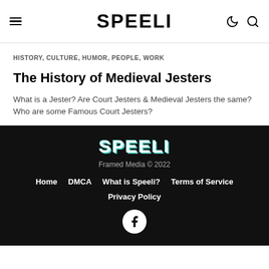SPEELI
HISTORY, CULTURE, HUMOR, PEOPLE, WORK
The History of Medieval Jesters
What is a Jester? Are Court Jesters & Medieval Jesters the same? Who are some Famous Court Jesters?
SPEELI
Framed Media © 2022
Home   DMCA   What is Speeli?   Terms of Service
Privacy Policy